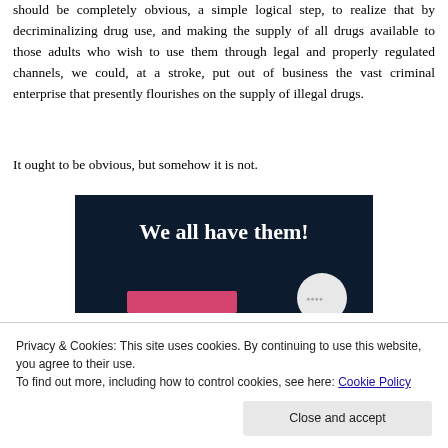should be completely obvious, a simple logical step, to realize that by decriminalizing drug use, and making the supply of all drugs available to those adults who wish to use them through legal and properly regulated channels, we could, at a stroke, put out of business the vast criminal enterprise that presently flourishes on the supply of illegal drugs.
It ought to be obvious, but somehow it is not.
[Figure (illustration): Dark navy blue banner image with bold white text reading 'We all have them!' with a pink rectangular bar and a grey/white circle at the bottom.]
Privacy & Cookies: This site uses cookies. By continuing to use this website, you agree to their use.
To find out more, including how to control cookies, see here: Cookie Policy
Close and accept